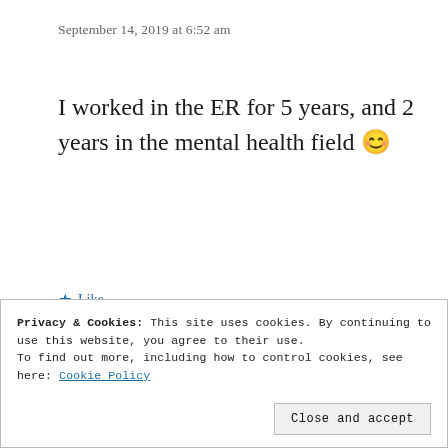September 14, 2019 at 6:52 am
I worked in the ER for 5 years, and 2 years in the mental health field 😊
★ Like
Reply
Privacy & Cookies: This site uses cookies. By continuing to use this website, you agree to their use.
To find out more, including how to control cookies, see here: Cookie Policy
Close and accept